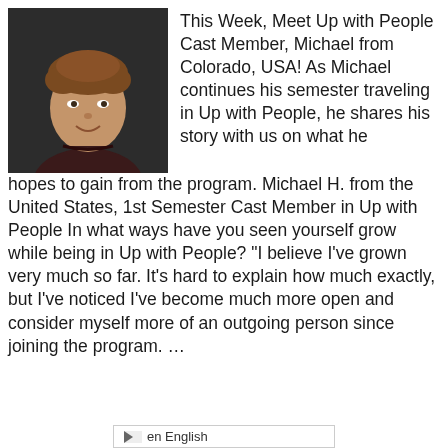[Figure (photo): Headshot photo of a young man with curly brown hair wearing a dark red/maroon shirt, smiling, dark background]
This Week, Meet Up with People Cast Member, Michael from Colorado, USA! As Michael continues his semester traveling in Up with People, he shares his story with us on what he hopes to gain from the program. Michael H. from the United States, 1st Semester Cast Member in Up with People In what ways have you seen yourself grow while being in Up with People? “I believe I’ve grown very much so far. It’s hard to explain how much exactly, but I’ve noticed I’ve become much more open and consider myself more of an outgoing person since joining the program. …
en English